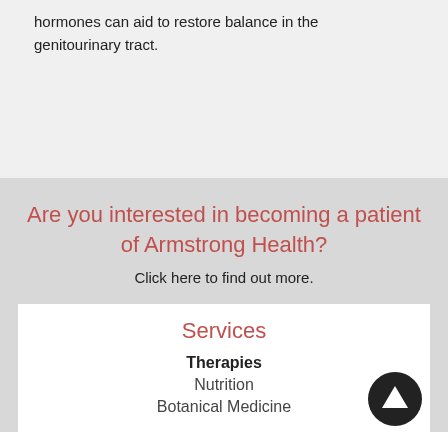hormones can aid to restore balance in the genitourinary tract.
Are you interested in becoming a patient of Armstrong Health?
Click here to find out more.
Services
Therapies
Nutrition
Botanical Medicine